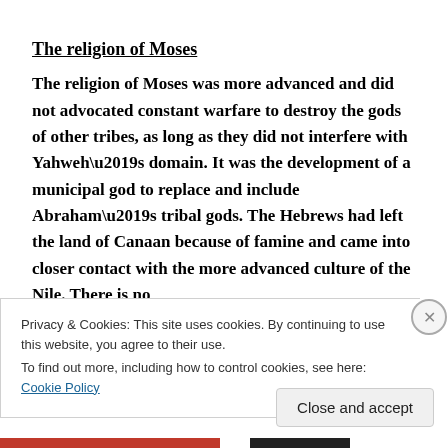The religion of Moses
The religion of Moses was more advanced and did not advocated constant warfare to destroy the gods of other tribes, as long as they did not interfere with Yahweh’s domain. It was the development of a municipal god to replace and include Abraham’s tribal gods. The Hebrews had left the land of Canaan because of famine and came into closer contact with the more advanced culture of the Nile. There is no
Privacy & Cookies: This site uses cookies. By continuing to use this website, you agree to their use.
To find out more, including how to control cookies, see here: Cookie Policy
Close and accept